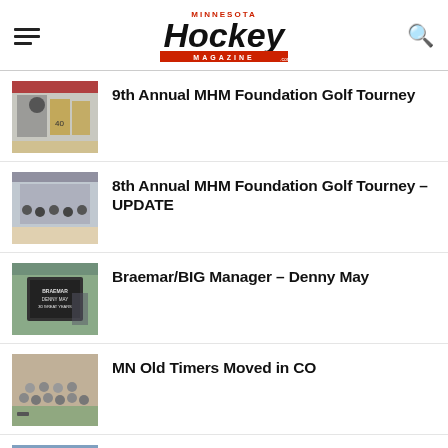Minnesota Hockey Magazine
9th Annual MHM Foundation Golf Tourney
[Figure (photo): Hockey players on ice rink bench area in gold/black uniforms]
8th Annual MHM Foundation Golf Tourney – UPDATE
[Figure (photo): Group photo of hockey team on ice]
Braemar/BIG Manager – Denny May
[Figure (photo): Outdoor sign for Braemar/BIG Manager Denny May 30 great years]
MN Old Timers Moved in CO
[Figure (photo): Group photo of hockey team posing together]
15th Annual Walleye Chop Tourney
[Figure (photo): Hockey team group photo]